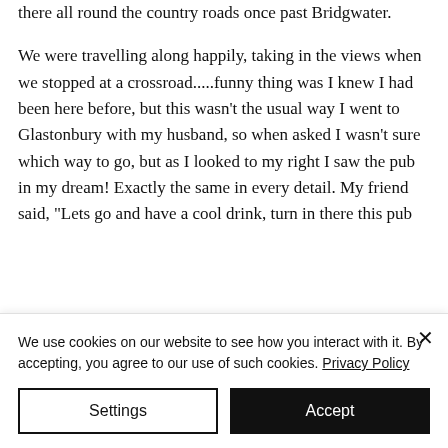there all round the country roads once past Bridgwater.

We were travelling along happily, taking in the views when we stopped at a crossroad.....funny thing was I knew I had been here before, but this wasn't the usual way I went to Glastonbury with my husband, so when asked I wasn't sure which way to go, but as I looked to my right I saw the pub in my dream! Exactly the same in every detail. My friend said, "Lets go and have a cool drink, turn in there this pub
We use cookies on our website to see how you interact with it. By accepting, you agree to our use of such cookies. Privacy Policy
Settings
Accept